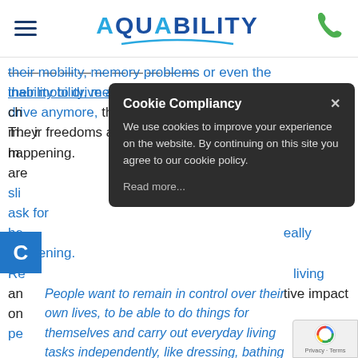Aquability - hamburger menu and phone icon header
their mobility, memory problems or even the inability to drive anymore, that sets in motion a ch... lifestyle. They m... ir freedoms are sli... uctant to ask for he... eally happening. Re... living an... tive impact on pe... health.
[Figure (screenshot): Cookie Compliancy modal dialog with dark background. Title: Cookie Compliancy with X close button. Body: We use cookies to improve your experience on the website. By continuing on this site you agree to our cookie policy. Read more...]
People want to remain in control over their own lives, to be able to do things for themselves and carry out everyday living tasks independently, like dressing, bathing and cooking. Christine Shaw,